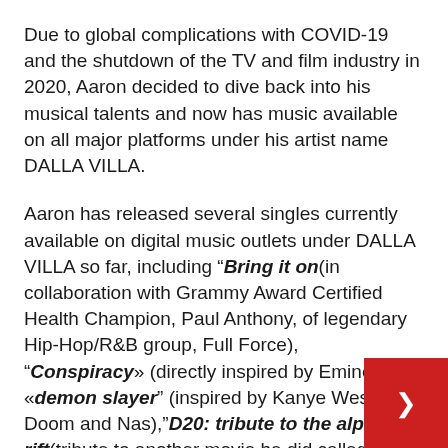Due to global complications with COVID-19 and the shutdown of the TV and film industry in 2020, Aaron decided to dive back into his musical talents and now has music available on all major platforms under his artist name DALLA VILLA.
Aaron has released several singles currently available on digital music outlets under DALLA VILLA so far, including “Bring it on(in collaboration with Grammy Award Certified Health Champion, Paul Anthony, of legendary Hip-Hop/R&B group, Full Force), “Conspiracy» (directly inspired by Eminem), «demon slayer” (inspired by Kanye West, MF Doom and Nas),”D20: tribute to the alpha rift(tribute to another movie he did called Alph + music video with over 100,000 views) and no the next “Smooth Johnny” song.